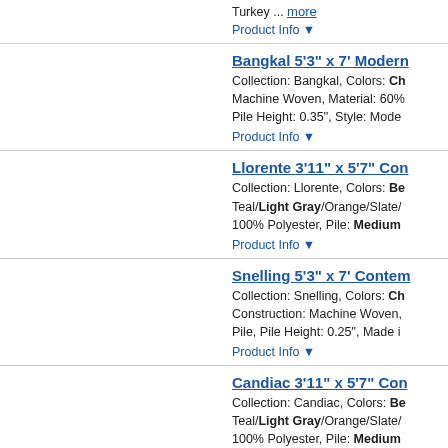Turkey ... more
Product Info ▼
Bangkal 5'3" x 7' Modern...
Collection: Bangkal, Colors: Ch... Machine Woven, Material: 60%... Pile Height: 0.35", Style: Mode...
Product Info ▼
Llorente 3'11" x 5'7" Con...
Collection: Llorente, Colors: Be... Teal/Light Gray/Orange/Slate/... 100% Polyester, Pile: Medium...
Product Info ▼
Snelling 5'3" x 7' Contem...
Collection: Snelling, Colors: Ch... Construction: Machine Woven,... Pile, Pile Height: 0.25", Made i...
Product Info ▼
Candiac 3'11" x 5'7" Con...
Collection: Candiac, Colors: Be... Teal/Light Gray/Orange/Slate/... 100% Polyester, Pile: Medium...
Product Info ▼